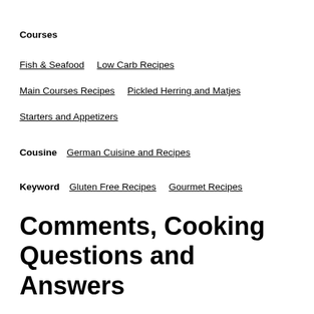Courses
Fish & Seafood    Low Carb Recipes
Main Courses Recipes    Pickled Herring and Matjes
Starters and Appetizers
Cousine    German Cuisine and Recipes
Keyword    Gluten Free Recipes    Gourmet Recipes
Comments, Cooking Questions and Answers